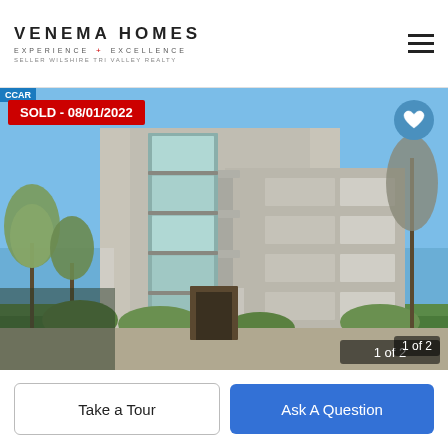VENEMA HOMES EXPERIENCE + EXCELLENCE SELLER WILSHIRE TRI VALLEY REALTY
[Figure (photo): Exterior photo of a multi-story modern condominium building with glass balconies, beige concrete facade, surrounded by trees under a blue sky. Badge overlay: SOLD - 08/01/2022. Photo counter: 1 of 2.]
SOLD - 08/01/2022
1 of 2
Take a Tour
Ask A Question